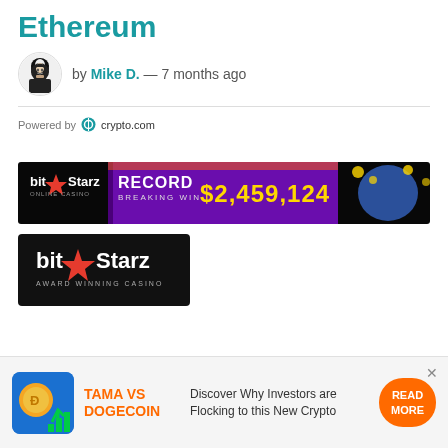Ethereum
by Mike D. — 7 months ago
Powered by crypto.com
[Figure (photo): BitStarz online casino banner ad showing 'RECORD BREAKING WIN $2,459,124' with gold text on dark purple/black background with casino character imagery]
[Figure (logo): BitStarz Award Winning Casino logo on black background]
TAMA VS DOGECOIN — Discover Why Investors are Flocking to this New Crypto — READ MORE